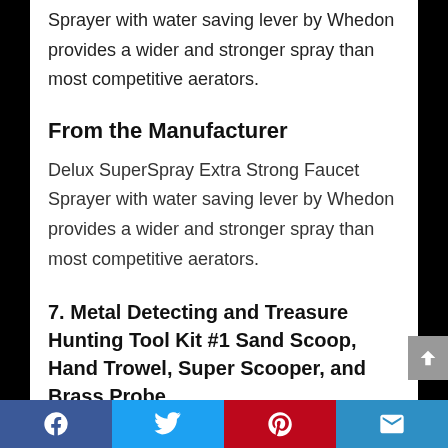Sprayer with water saving lever by Whedon provides a wider and stronger spray than most competitive aerators.
From the Manufacturer
Delux SuperSpray Extra Strong Faucet Sprayer with water saving lever by Whedon provides a wider and stronger spray than most competitive aerators.
7. Metal Detecting and Treasure Hunting Tool Kit #1 Sand Scoop, Hand Trowel, Super Scooper, and Brass Probe